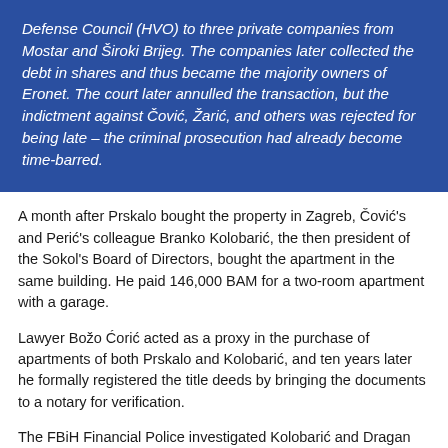Defense Council (HVO) to three private companies from Mostar and Široki Brijeg. The companies later collected the debt in shares and thus became the majority owners of Eronet. The court later annulled the transaction, but the indictment against Čović, Žarić, and others was rejected for being late – the criminal prosecution had already become time-barred.
A month after Prskalo bought the property in Zagreb, Čović's and Perić's colleague Branko Kolobarić, the then president of the Sokol's Board of Directors, bought the apartment in the same building. He paid 146,000 BAM for a two-room apartment with a garage.
Lawyer Božo Ćorić acted as a proxy in the purchase of apartments of both Prskalo and Kolobarić, and ten years later he formally registered the title deeds by bringing the documents to a notary for verification.
The FBiH Financial Police investigated Kolobarić and Dragan Čović, and in 2003 filed a criminal report against them, claiming that at the time of the purchase of these apartments Kolobarić and Čović signed